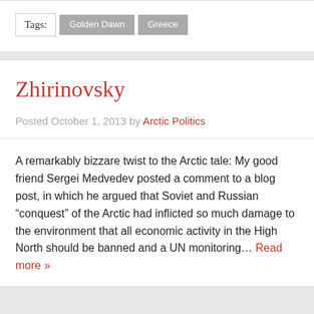Tags: Golden Dawn  Greece
Zhirinovsky
Posted October 1, 2013 by Arctic Politics
A remarkably bizzare twist to the Arctic tale: My good friend Sergei Medvedev posted a comment to a blog post, in which he argued that Soviet and Russian “conquest” of the Arctic had inflicted so much damage to the environment that all economic activity in the High North should be banned and a UN monitoring... Read more »